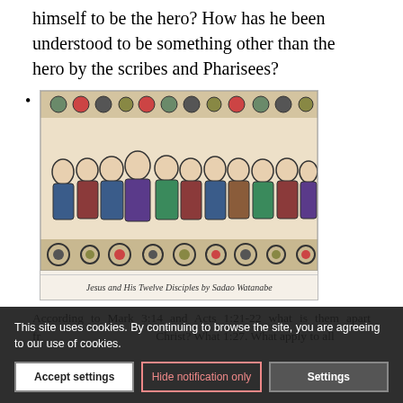himself to be the hero? How has he been understood to be something other than the hero by the scribes and Pharisees?
[Figure (illustration): Stylized artwork titled 'Jesus and His Twelve Disciples by Sadao Watanabe' — a folk-art style depiction of Jesus and his disciples with decorative patterns and bold colors including blue, red, and black on a light background.]
Jesus and His Twelve Disciples by Sadao Watanabe
According to Mark 3:14 and Acts 1:21-22 what is them apart fr Christ? What 1:27. What apply to all
This site uses cookies. By continuing to browse the site, you are agreeing to our use of cookies.